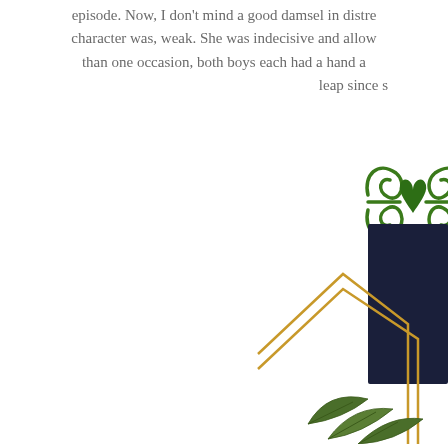episode. Now, I don't mind a good damsel in distress character was, weak. She was indecisive and allow than one occasion, both boys each had a hand a leap since s
[Figure (illustration): A decorative green scrollwork/flourish ornament design, positioned in the upper right area of the page]
[Figure (illustration): An illustration in the lower right corner showing a dark navy blue book or rectangle shape, a gold geometric/angular frame border, and green leaves at the bottom]